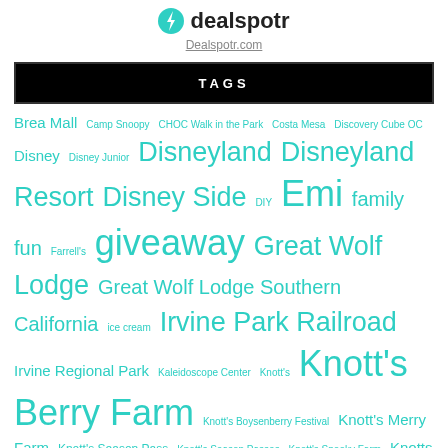[Figure (logo): Dealspotr logo with green lightning bolt icon and 'dealspotr' text]
Dealspotr.com
TAGS
Brea Mall Camp Snoopy CHOC Walk in the Park Costa Mesa Discovery Cube OC Disney Disney Junior Disneyland Disneyland Resort Disney Side DIY Emi family fun Farrell's giveaway Great Wolf Lodge Great Wolf Lodge Southern California ice cream Irvine Park Railroad Irvine Regional Park Kaleidoscope Center Knott's Knott's Berry Farm Knott's Boysenberry Festival Knott's Merry Farm Knott's Season Pass Knott's Season Passes Knott's Spooky Farm Knotts Scary Farm LEGO Legoland California Resort M&Ms Mission Viejo OC Fair Orange County recipe Rock Your Disney Side Simon Malls Summer Starts Here